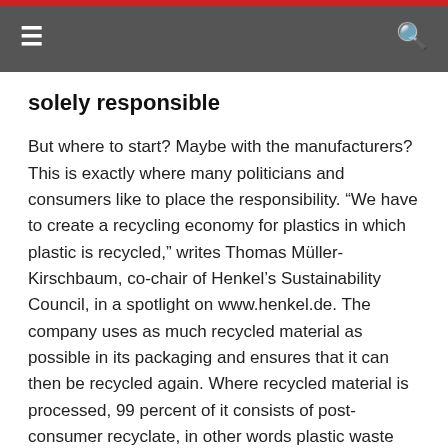Navigation bar with hamburger menu and search icon
solely responsible
But where to start? Maybe with the manufacturers? This is exactly where many politicians and consumers like to place the responsibility. “We have to create a recycling economy for plastics in which plastic is recycled,” writes Thomas Müller-Kirschbaum, co-chair of Henkel’s Sustainability Council, in a spotlight on www.henkel.de. The company uses as much recycled material as possible in its packaging and ensures that it can then be recycled again. Where recycled material is processed, 99 percent of it consists of post-consumer recyclate, in other words plastic waste from the end consumer household. Müller-Kirschbaum answers the much-discussed question